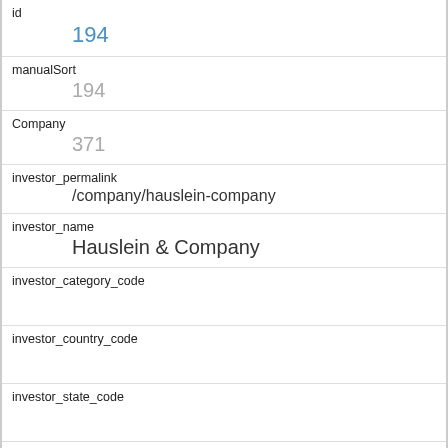id
194
manualSort
194
Company
371
investor_permalink
/company/hauslein-company
investor_name
Hauslein & Company
investor_category_code
investor_country_code
investor_state_code
investor_region
unknown
investor_city
funding_round_type